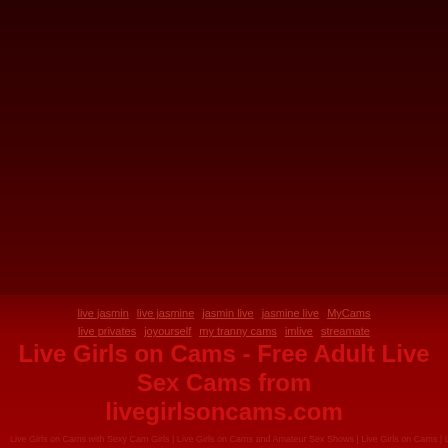[Figure (screenshot): Dark red/maroon background image filling upper portion of page]
live jasmin live jasmine jasmin live jasmine live MyCams live privates joyourself my tranny cams imlive streamate
Live Girls on Cams - Free Adult Live Sex Cams from livegirlsoncams.com
Live Girls on Cams with Sexy Cam Girls | Live Girls on Cams and Amateur Sex Shows | Live ...